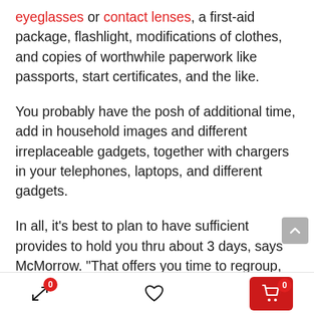eyeglasses or contact lenses, a first-aid package, flashlight, modifications of clothes, and copies of worthwhile paperwork like passports, start certificates, and the like.
You probably have the posh of additional time, add in household images and different irreplaceable gadgets, together with chargers in your telephones, laptops, and different gadgets.
In all, it’s best to plan to have sufficient provides to hold you thru about 3 days, says McMorrow. “That offers you time to regroup, determine your subsequent steps, and fulfill your wants within the